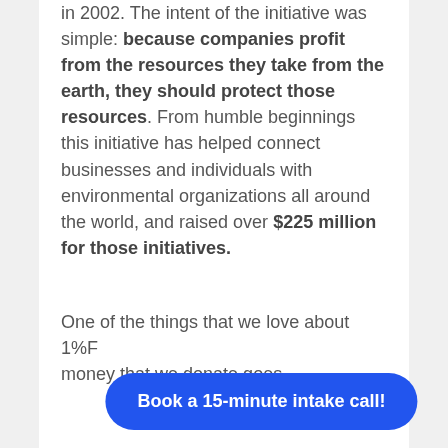in 2002. The intent of the initiative was simple: because companies profit from the resources they take from the earth, they should protect those resources. From humble beginnings this initiative has helped connect businesses and individuals with environmental organizations all around the world, and raised over $225 million for those initiatives.
One of the things that we love about 1%F... money that we donate goes
Book a 15-minute intake call!